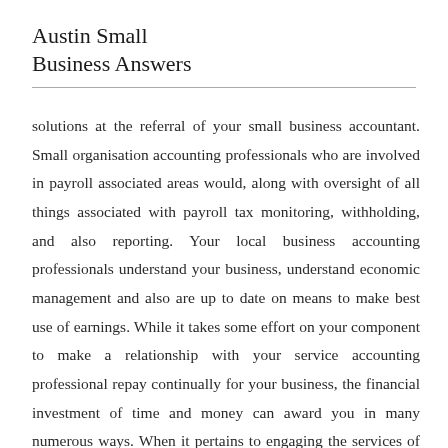Austin Small Business Answers
solutions at the referral of your small business accountant. Small organisation accounting professionals who are involved in payroll associated areas would, along with oversight of all things associated with payroll tax monitoring, withholding, and also reporting. Your local business accounting professionals understand your business, understand economic management and also are up to date on means to make best use of earnings. While it takes some effort on your component to make a relationship with your service accounting professional repay continually for your business, the financial investment of time and money can award you in many numerous ways. When it pertains to engaging the services of any type of professional, not